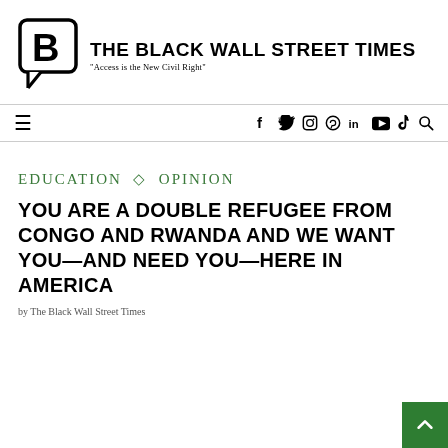[Figure (logo): The Black Wall Street Times logo — speech-bubble B icon with bold text and tagline 'Access is the New Civil Right']
Navigation bar with hamburger menu and social icons: f (Facebook), Twitter, Instagram, Pinterest, in (LinkedIn), YouTube, TikTok, Search
EDUCATION · OPINION
YOU ARE A DOUBLE REFUGEE FROM CONGO AND RWANDA AND WE WANT YOU—AND NEED YOU—HERE IN AMERICA
by The Black Wall Street Times